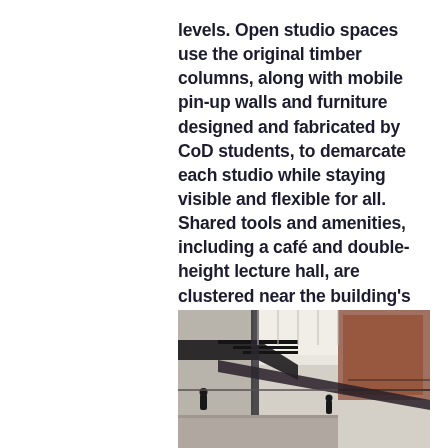levels. Open studio spaces use the original timber columns, along with mobile pin-up walls and furniture designed and fabricated by CoD students, to demarcate each studio while staying visible and flexible for all. Shared tools and amenities, including a café and double-height lecture hall, are clustered near the building's center to encourage students, faculty, and visitors to mix.
[Figure (photo): Interior architectural photo of a building showing a dark steel bridge/staircase structure spanning across a multi-level atrium space. Brick walls visible on the right side, with bright skylights above. Two human silhouettes visible on different levels.]